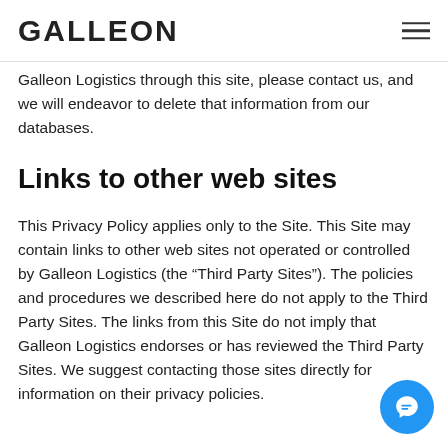GALLEON
Galleon Logistics through this site, please contact us, and we will endeavor to delete that information from our databases.
Links to other web sites
This Privacy Policy applies only to the Site. This Site may contain links to other web sites not operated or controlled by Galleon Logistics (the “Third Party Sites”). The policies and procedures we described here do not apply to the Third Party Sites. The links from this Site do not imply that Galleon Logistics endorses or has reviewed the Third Party Sites. We suggest contacting those sites directly for information on their privacy policies.